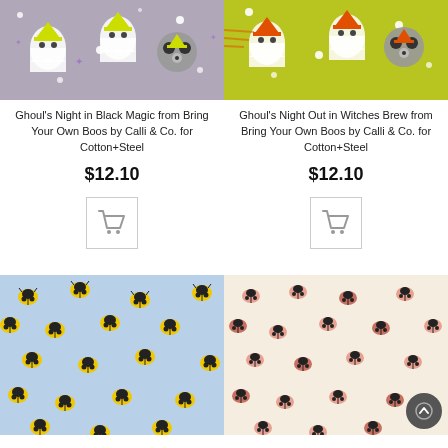[Figure (photo): Fabric pattern with cartoon ghosts and raccoons wearing ghost costumes on a gray/purple starry background]
Ghoul's Night in Black Magic from Bring Your Own Boos by Calli & Co. for Cotton+Steel
$12.10
[Figure (illustration): Shopping cart icon button]
[Figure (photo): Fabric pattern with cartoon ghosts and raccoons wearing ghost costumes on a yellow-green starry background]
Ghoul's Night Out in Witches Brew from Bring Your Own Boos by Calli & Co. for Cotton+Steel
$12.10
[Figure (illustration): Shopping cart icon button]
[Figure (photo): Fabric pattern with yellow and black ladybugs/beetles on a light blue background]
[Figure (photo): Fabric pattern with pink and black ladybugs on a cream/off-white background]